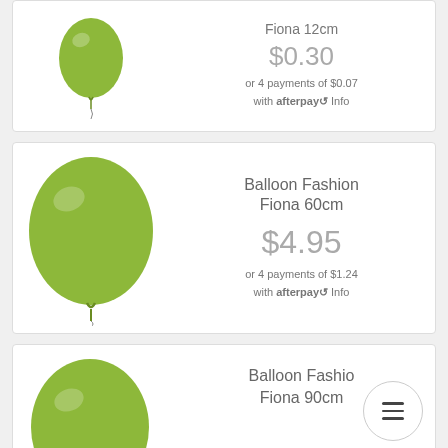[Figure (illustration): Green balloon product image for Balloon Fashion Fiona 12cm]
Fiona 12cm
$0.30
or 4 payments of $0.07
with afterpay Info
[Figure (illustration): Green balloon product image for Balloon Fashion Fiona 60cm]
Balloon Fashion Fiona 60cm
$4.95
or 4 payments of $1.24
with afterpay Info
[Figure (illustration): Green balloon product image for Balloon Fashion Fiona 90cm]
Balloon Fashion
Fiona 90cm